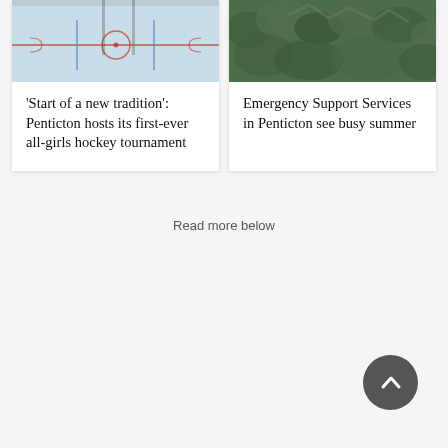[Figure (photo): Hockey rink aerial/overhead view showing ice surface with red markings]
'Start of a new tradition': Penticton hosts its first-ever all-girls hockey tournament
[Figure (photo): Aerial view of forested mountain hillside, dense green trees]
Emergency Support Services in Penticton see busy summer
Read more below